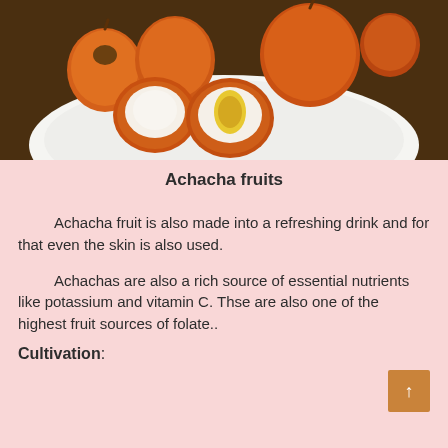[Figure (photo): Photo of achacha fruits on a white plate, showing whole orange fruits and halved fruits revealing white flesh and yellow seeds, on a dark soil background]
Achacha fruits
Achacha fruit is also made into a refreshing drink and for that even the skin is also used.
Achachas are also a rich source of essential nutrients like potassium and vitamin C. Thse are also one of the highest fruit sources of folate..
Cultivation: